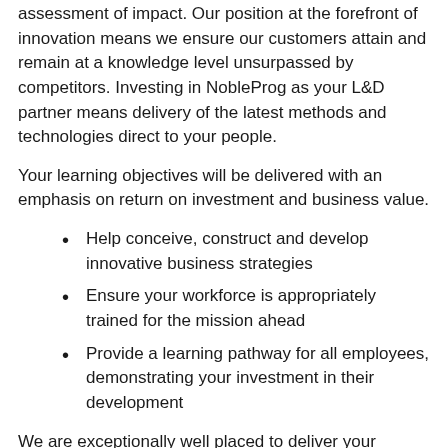assessment of impact. Our position at the forefront of innovation means we ensure our customers attain and remain at a knowledge level unsurpassed by competitors. Investing in NobleProg as your L&D partner means delivery of the latest methods and technologies direct to your people.
Your learning objectives will be delivered with an emphasis on return on investment and business value.
Help conceive, construct and develop innovative business strategies
Ensure your workforce is appropriately trained for the mission ahead
Provide a learning pathway for all employees, demonstrating your investment in their development
We are exceptionally well placed to deliver your complete learning needs, from upskilllling or reskilling to the attainment and surpassing of industry required competences. As a MLS customer you will have immediate